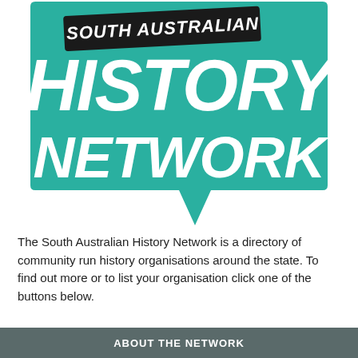[Figure (logo): South Australian History Network logo — a teal speech bubble shape containing the text 'SOUTH AUSTRALIAN' in bold italic on a black banner, and 'HISTORY NETWORK' in large white bold italic text. The bubble has a downward pointer tail.]
The South Australian History Network is a directory of community run history organisations around the state. To find out more or to list your organisation click one of the buttons below.
ABOUT THE NETWORK